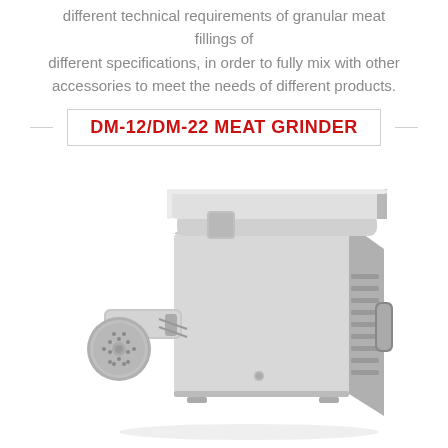different technical requirements of granular meat fillings of different specifications, in order to fully mix with other accessories to meet the needs of different products.
DM-12/DM-22 MEAT GRINDER
[Figure (photo): A stainless steel commercial meat grinder (DM-12/DM-22) with a rectangular feed tray on top, grinding head with perforated disc on the left front, and ventilation slots on the right side panel.]